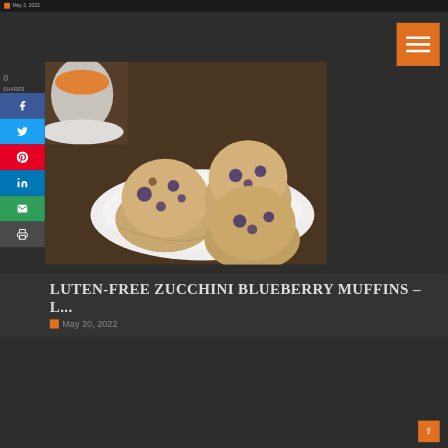May 2, 2022
[Figure (photo): Three blueberry zucchini muffins on a white plate with a white cup of tea in the background on a dark wooden surface]
GLUTEN-FREE ZUCCHINI BLUEBERRY MUFFINS – L...
May 20, 2022